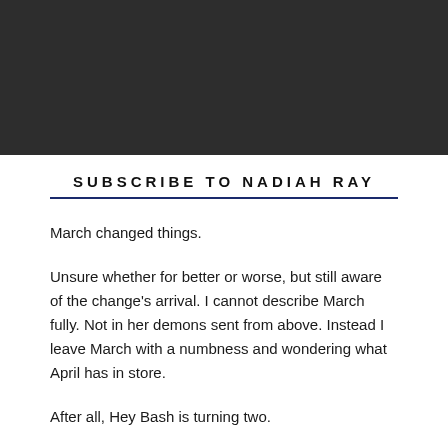[Figure (other): Dark/black banner image at the top of the page]
SUBSCRIBE TO NADIAH RAY
March changed things.
Unsure whether for better or worse, but still aware of the change's arrival. I cannot describe March fully. Not in her demons sent from above. Instead I leave March with a numbness and wondering what April has in store.
After all, Hey Bash is turning two.